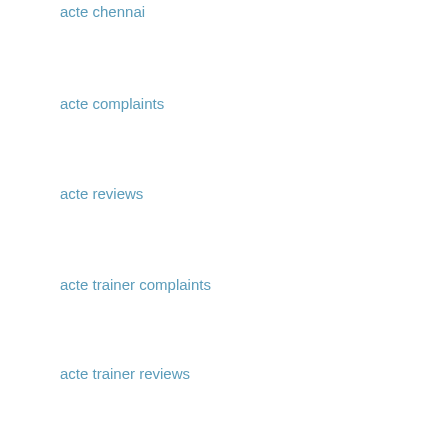acte chennai
acte complaints
acte reviews
acte trainer complaints
acte trainer reviews
acte velachery reviews complaints
acte tambaram reviews complaints
acte anna nagar reviews complaints
acte porur reviews complaints
acte omr reviews complaints
Reply